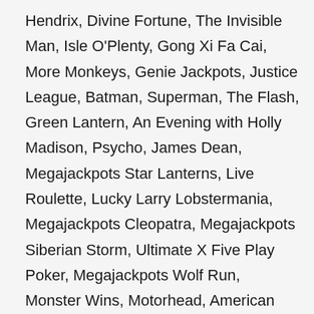Hendrix, Divine Fortune, The Invisible Man, Isle O'Plenty, Gong Xi Fa Cai, More Monkeys, Genie Jackpots, Justice League, Batman, Superman, The Flash, Green Lantern, An Evening with Holly Madison, Psycho, James Dean, Megajackpots Star Lanterns, Live Roulette, Lucky Larry Lobstermania, Megajackpots Cleopatra, Megajackpots Siberian Storm, Ultimate X Five Play Poker, Megajackpots Wolf Run, Monster Wins, Motorhead, American Roulette, Blackjack Classic, Oasis Poker, Pontoon, Texas Holdem, Paws of Fury, Planet of the Apes, Secrets of Atlantis, Slots-o-Gold, Spin Sorceress, Starmania, Steam Tower, Super Diamond Deluxe, Super Spinner, Top Cat, The Pig Wizard, Thunderstruck II, Baccarat, Blackjack, Cats, Chilli Gold, European Roulette, Fortunes of Sparta, Golden, Gorilla Go Wild, Hi-Low Blackjack, Hi-Low Gambler, Hooks Hero,